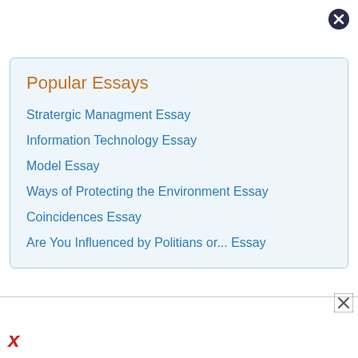[Figure (other): Close/dismiss button (X icon) in top right corner]
Popular Essays
Stratergic Managment Essay
Information Technology Essay
Model Essay
Ways of Protecting the Environment Essay
Coincidences Essay
Are You Influenced by Politians or... Essay
[Figure (other): Close/dismiss button (X icon) in bottom right area]
[Figure (other): Red X icon in bottom left corner]